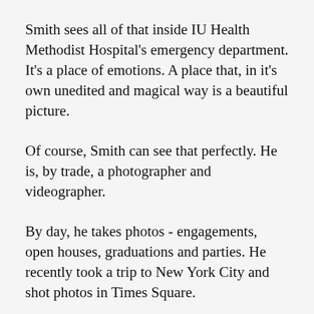Smith sees all of that inside IU Health Methodist Hospital's emergency department. It's a place of emotions. A place that, in it's own unedited and magical way is a beautiful picture.
Of course, Smith can see that perfectly. He is, by trade, a photographer and videographer.
By day, he takes photos - engagements, open houses, graduations and parties. He recently took a trip to New York City and shot photos in Times Square.
By night - from 4:30 p.m. to 3 a.m. – he is a financial navigator inside Methodist's ED. He welcomes patients and helps them with questions